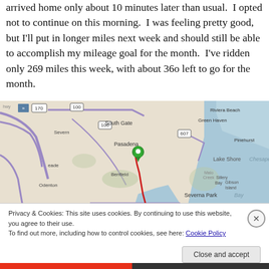arrived home only about 10 minutes later than usual.  I opted not to continue on this morning.  I was feeling pretty good, but I'll put in longer miles next week and should still be able to accomplish my mileage goal for the month.  I've ridden only 269 miles this week, with about 36o left to go for the month.
[Figure (map): A road map showing the Pasadena/South Gate/Severna Park area near Chesapeake Bay in Maryland, with a red traced route and a green location pin marker.]
Privacy & Cookies: This site uses cookies. By continuing to use this website, you agree to their use.
To find out more, including how to control cookies, see here: Cookie Policy